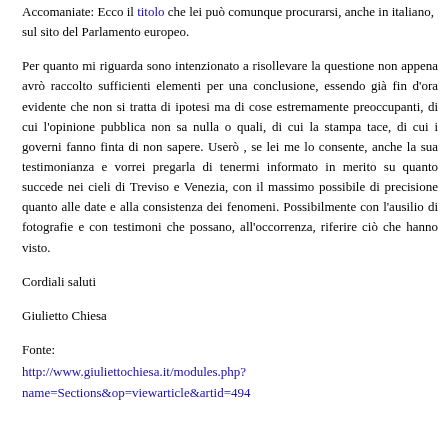Accomaniate: Ecco il titolo che lei può comunque procurarsi, anche in italiano, sul sito del Parlamento europeo.
Per quanto mi riguarda sono intenzionato a risollevare la questione non appena avrò raccolto sufficienti elementi per una conclusione, essendo già fin d'ora evidente che non si tratta di ipotesi ma di cose estremamente preoccupanti, di cui l'opinione pubblica non sa nulla o quali, di cui la stampa tace, di cui i governi fanno finta di non sapere. Userò , se lei me lo consente, anche la sua testimonianza e vorrei pregarla di tenermi informato in merito su quanto succede nei cieli di Treviso e Venezia, con il massimo possibile di precisione quanto alle date e alla consistenza dei fenomeni. Possibilmente con l'ausilio di fotografie e con testimoni che possano, all'occorrenza, riferire ciò che hanno visto.
Cordiali saluti
Giulietto Chiesa
Fonte:
http://www.giuliettochiesa.it/modules.php?name=Sections&op=viewarticle&artid=494